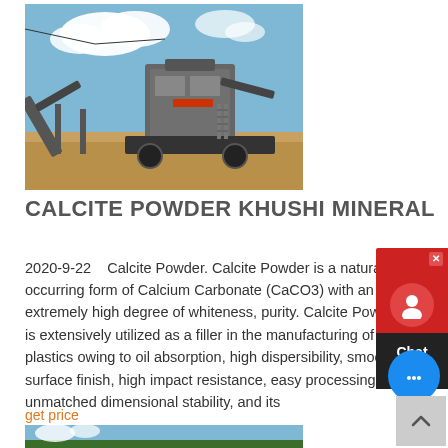[Figure (photo): Industrial mining/crushing machinery equipment outdoors with blue sky and clouds in background]
CALCITE POWDER KHUSHI MINERAL
2020-9-22    Calcite Powder. Calcite Powder is a naturally occurring form of Calcium Carbonate (CaCO3) with an extremely high degree of whiteness, purity. Calcite Powder is extensively utilized as a filler in the manufacturing of plastics owing to oil absorption, high dispersibility, smooth surface finish, high impact resistance, easy processing, unmatched dimensional stability, and its
get price
[Figure (photo): Blue sky with trees visible at bottom edge]